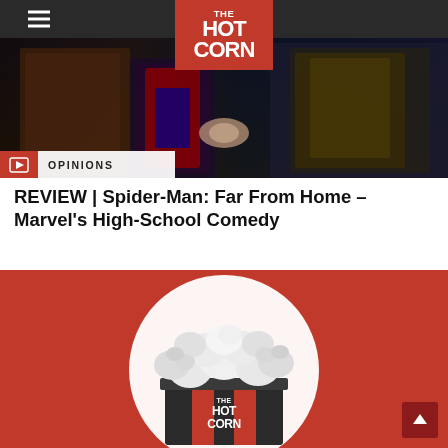[Figure (screenshot): Website navigation bar with hamburger menu icon (three white lines) on dark background and The Hot Corn logo in red box centered at top]
[Figure (photo): Spider-Man and two other Marvel characters (one in armor) in a dark scene - movie still from Spider-Man: Far From Home]
OPINIONS
REVIEW | Spider-Man: Far From Home – Marvel's High-School Comedy
[Figure (logo): The Hot Corn logo on red background - popcorn bucket with white popcorn overflowing, white circle behind it, THE HOT CORN text in white at bottom of bucket]